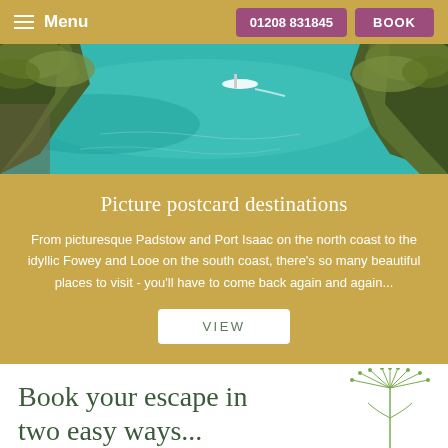≡ Menu   01208 831845   BOOK
[Figure (photo): Aerial view of a turquoise coastal cove with green cliffs and a small boat on the water]
Picture postcard destinations
From picturesque Padstow and Port Isaac on the north coast to the idyllic Fowey and Looe on the south coast, there's so many beautiful places to visit - you'll have to come back again and again...
VIEW
Book your escape in two easy ways...